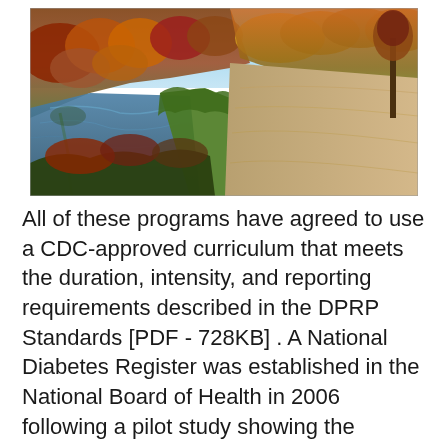[Figure (photo): Autumn landscape photograph showing a gravel path along a river or canal, flanked by fall-colored trees (red, orange, yellow) on hillsides. The water reflects the sky and surrounding foliage. The path curves to the right into the distance.]
All of these programs have agreed to use a CDC-approved curriculum that meets the duration, intensity, and reporting requirements described in the DPRP Standards [PDF - 728KB] . A National Diabetes Register was established in the National Board of Health in 2006 following a pilot study showing the feasibility of doing so based on existing registers. The register contains The data collected in a disease registry is stripped of personal information.